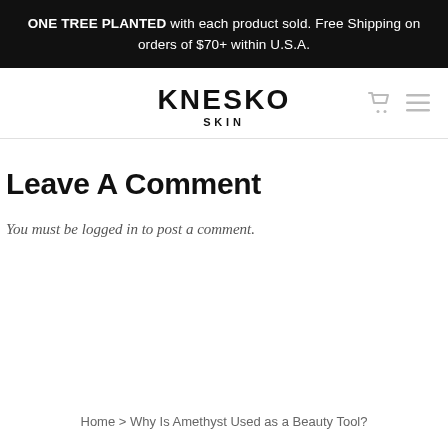ONE TREE PLANTED with each product sold. Free Shipping on orders of $70+ within U.S.A.
KNESKO SKIN
Leave A Comment
You must be logged in to post a comment.
Home > Why Is Amethyst Used as a Beauty Tool?